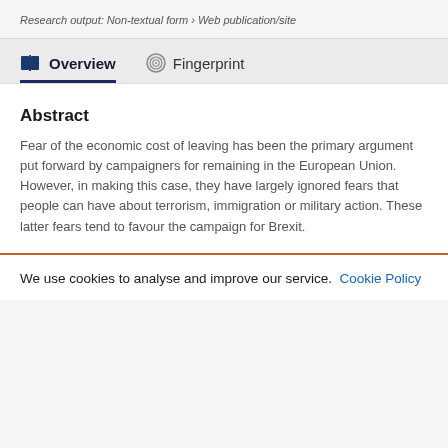Research output: Non-textual form › Web publication/site
Overview
Fingerprint
Abstract
Fear of the economic cost of leaving has been the primary argument put forward by campaigners for remaining in the European Union. However, in making this case, they have largely ignored fears that people can have about terrorism, immigration or military action. These latter fears tend to favour the campaign for Brexit.
We use cookies to analyse and improve our service. Cookie Policy